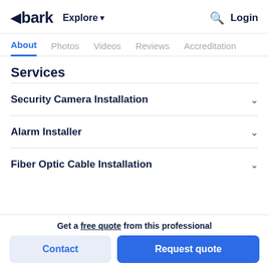bark  Explore  Login
About  Photos  Videos  Reviews  Accreditations
Services
Security Camera Installation
Alarm Installer
Fiber Optic Cable Installation
Get a free quote from this professional
Contact
Request quote